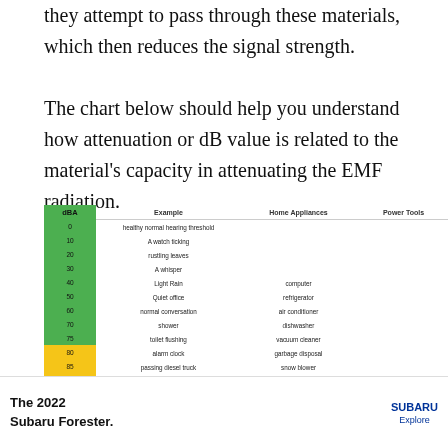they attempt to pass through these materials, which then reduces the signal strength.
The chart below should help you understand how attenuation or dB value is related to the material's capacity in attenuating the EMF radiation.
[Figure (table-as-image): dBA sound level chart with columns: dBA, Example, Home Appliances, Power Tools. Rows from 0 to 115 dBA with color coding (green, yellow, orange) and example sounds, home appliances, and power tools at each level.]